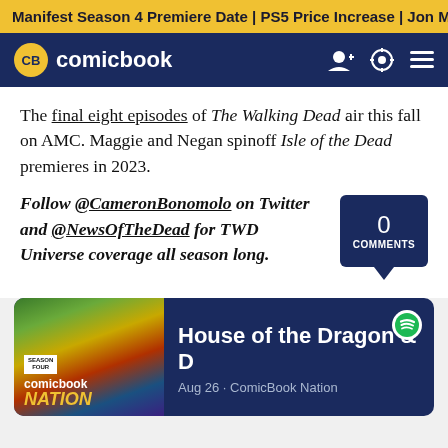Manifest Season 4 Premiere Date | PS5 Price Increase | Jon M
[Figure (logo): ComicBook.com logo with CB badge and navigation icons]
The final eight episodes of The Walking Dead air this fall on AMC. Maggie and Negan spinoff Isle of the Dead premieres in 2023.
Follow @CameronBonomolo on Twitter and @NewsOfTheDead for TWD Universe coverage all season long.
[Figure (infographic): 0 COMMENTS speech bubble]
[Figure (infographic): ComicBook Nation Season Four podcast card - House of the Dragon & D - Aug 26 · ComicBook Nation]